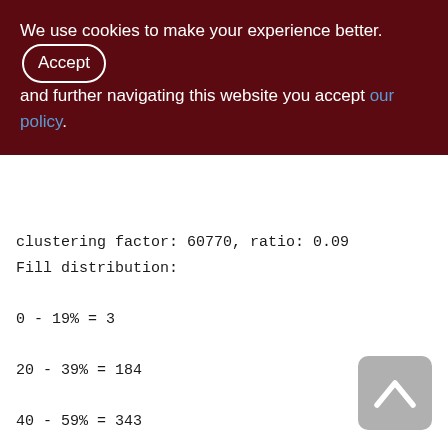We use cookies to make your experience better. By accepting and further navigating this website you accept our policy.
clustering factor: 60770, ratio: 0.09
Fill distribution:
0 - 19% = 3
20 - 39% = 184
40 - 59% = 343
60 - 79% = 237
80 - 99% = 101

ZDOC_DATA (230)
Primary pointer page: 644, Index root page:
645
Total formats: 1, used formats: 0
Average record length: 0.00, total records: